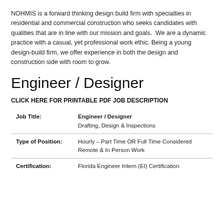NOHMIS is a forward thinking design build firm with specialties in residential and commercial construction who seeks candidates with qualities that are in line with our mission and goals.  We are a dynamic practice with a casual, yet professional work ethic. Being a young design-build firm, we offer experience in both the design and construction side with room to grow.
Engineer / Designer
CLICK HERE FOR PRINTABLE PDF JOB DESCRIPTION
|  |  |
| --- | --- |
| Job Title: | Engineer / Designer
Drafting, Design & Inspections |
| Type of Position: | Hourly – Part Time OR Full Time Considered
Remote & In Person Work |
| Certification: | Florida Engineer Intern (EI) Certification |